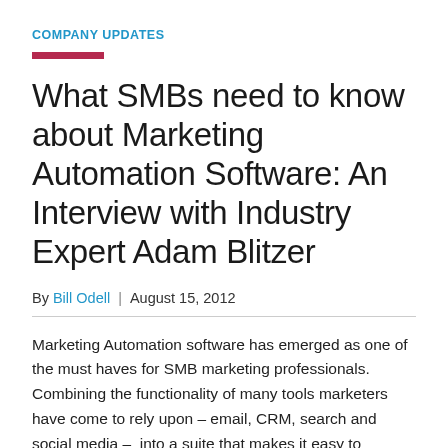COMPANY UPDATES
What SMBs need to know about Marketing Automation Software: An Interview with Industry Expert Adam Blitzer
By Bill Odell  |  August 15, 2012
Marketing Automation software has emerged as one of the must haves for SMB marketing professionals. Combining the functionality of many tools marketers have come to rely upon – email, CRM, search and social media –  into a suite that makes it easy to develop, execute and